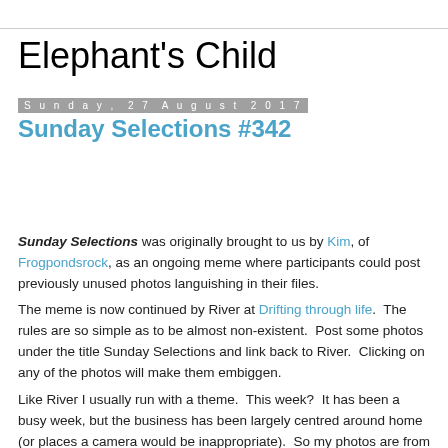Elephant's Child
Sunday, 27 August 2017
Sunday Selections #342
Sunday Selections was originally brought to us by Kim, of Frogpondsrock, as an ongoing meme where participants could post previously unused photos languishing in their files.
The meme is now continued by River at Drifting through life.  The rules are so simple as to be almost non-existent.  Post some photos under the title Sunday Selections and link back to River.  Clicking on any of the photos will make them embiggen.
Like River I usually run with a theme.  This week?  It has been a busy week, but the business has been largely centred around home (or places a camera would be inappropriate).  So my photos are from home, and feature my usual obsessions.